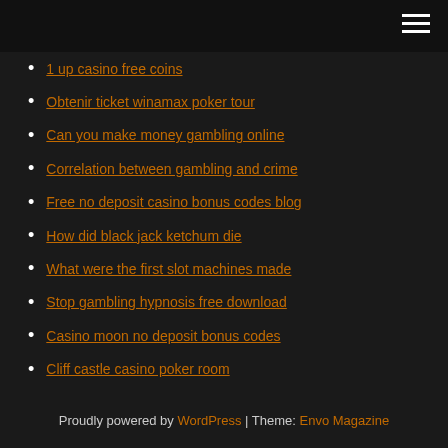[Navigation header with hamburger menu]
1 up casino free coins
Obtenir ticket winamax poker tour
Can you make money gambling online
Correlation between gambling and crime
Free no deposit casino bonus codes blog
How did black jack ketchum die
What were the first slot machines made
Stop gambling hypnosis free download
Casino moon no deposit bonus codes
Cliff castle casino poker room
Black jack vol1 read online
Proudly powered by WordPress | Theme: Envo Magazine